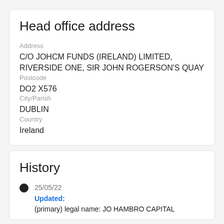Head office address
Address
C/O JOHCM FUNDS (IRELAND) LIMITED, RIVERSIDE ONE, SIR JOHN ROGERSON'S QUAY
Postcode
DO2 X576
City/Parish
DUBLIN
Country
Ireland
History
25/05/22
Updated:
(primary) legal name: JO HAMBRO CAPITAL